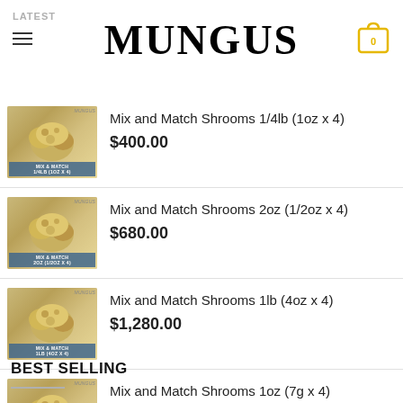MUNGUS
Mix and Match Shrooms 1/4lb (1oz x 4)
$400.00
Mix and Match Shrooms 2oz (1/2oz x 4)
$680.00
Mix and Match Shrooms 1lb (4oz x 4)
$1,280.00
Mix and Match Shrooms 1oz (7g x 4)
$130.00
BEST SELLING